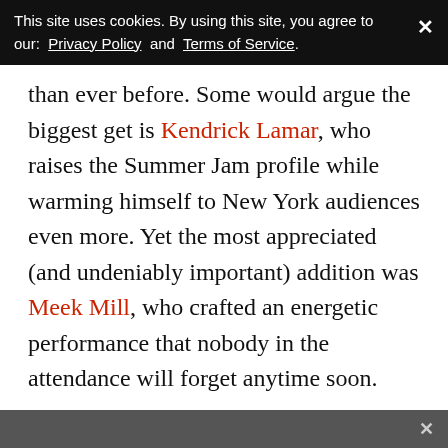This site uses cookies. By using this site, you agree to our: Privacy Policy and Terms of Service.
than ever before. Some would argue the biggest get is Kendrick Lamar, who raises the Summer Jam profile while warming himself to New York audiences even more. Yet the most appreciated (and undeniably important) addition was Meek Mill, who crafted an energetic performance that nobody in the attendance will forget anytime soon.
There may have not been an iconic Summer Jam screen moment. Instead, the night put the shine on the music, which doesn't happen nearly enough.